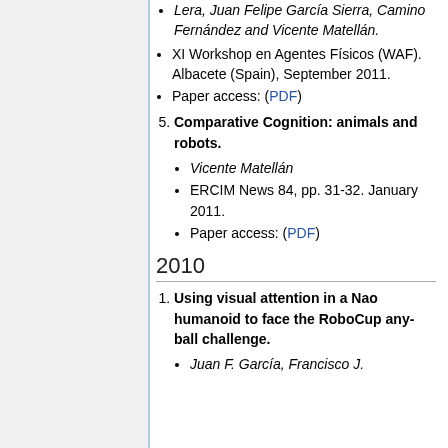Lera, Juan Felipe García Sierra, Camino Fernández and Vicente Matellán. (italic continuation)
XI Workshop en Agentes Físicos (WAF). Albacete (Spain), September 2011.
Paper access: (PDF)
Comparative Cognition: animals and robots. (item 5, bold)
Vicente Matellán
ERCIM News 84, pp. 31-32. January 2011.
Paper access: (PDF)
2010
Using visual attention in a Nao humanoid to face the RoboCup any-ball challenge. (item 1, bold)
Juan F. García, Francisco J.